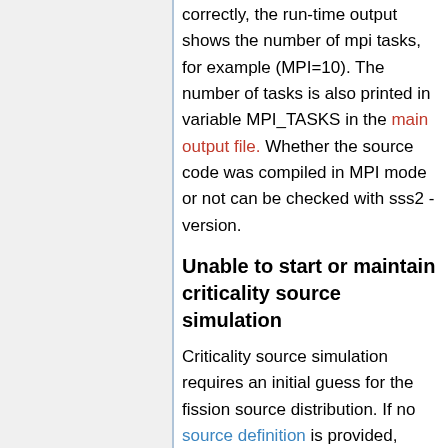correctly, the run-time output shows the number of mpi tasks, for example (MPI=10). The number of tasks is also printed in variable MPI_TASKS in the main output file. Whether the source code was compiled in MPI mode or not can be checked with sss2 -version.
Unable to start or maintain criticality source simulation
Criticality source simulation requires an initial guess for the fission source distribution. If no source definition is provided, Serpent samples source points uniformly throughout all fissile materials, i.e. materials with fissile isotopes. This creates two potential problems:
1. If the fissile material covers only a small volume of the total